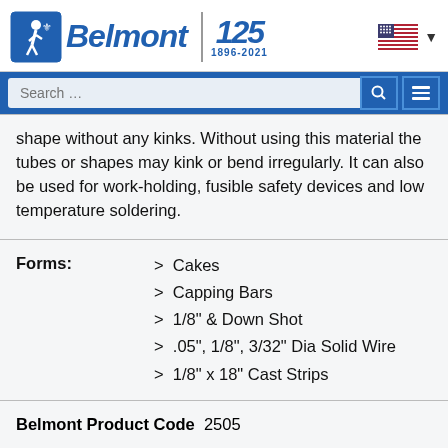Belmont | 125 | 1896-2021
shape without any kinks. Without using this material the tubes or shapes may kink or bend irregularly. It can also be used for work-holding, fusible safety devices and low temperature soldering.
Cakes
Capping Bars
1/8" & Down Shot
.05", 1/8", 3/32" Dia Solid Wire
1/8" x 18" Cast Strips
Belmont Product Code   2505